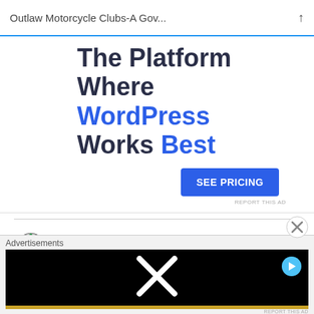Outlaw Motorcycle Clubs-A Gov...
[Figure (infographic): WordPress hosting advertisement: 'The Platform Where WordPress Works Best' with a 'SEE PRICING' button]
REPORT THIS AD
C Mac   FEBRUARY 11, 2016 AT 8:06 PM
I had some blue knights role up fast on
Advertisements
[Figure (screenshot): Video advertisement with X logo on black background and gold bar at bottom]
REPORT THIS AD